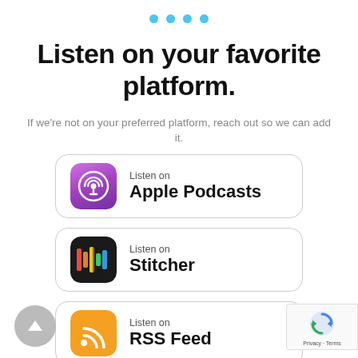[Figure (infographic): Four blue dots used as a pagination indicator at the top of the page]
Listen on your favorite platform.
If we're not on your preferred platform, reach out so we can add it.
[Figure (other): Apple Podcasts platform button with purple podcast icon, text: Listen on Apple Podcasts]
[Figure (other): Stitcher platform button with dark Stitcher icon, text: Listen on Stitcher]
[Figure (other): RSS Feed platform button with orange RSS icon, text: Listen on RSS Feed]